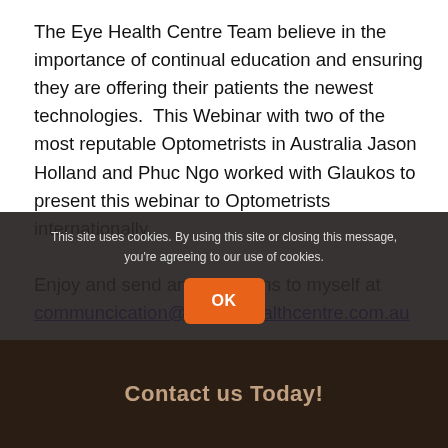The Eye Health Centre Team believe in the importance of continual education and ensuring they are offering their patients the newest technologies.  This Webinar with two of the most reputable Optometrists in Australia Jason Holland and Phuc Ngo worked with Glaukos to present this webinar to Optometrists internationally.

Enjoy and send any questions to myself at communcication@theeyehealthcentre.com.au
This site uses cookies. By using this site or closing this message, you're agreeing to our use of cookies.
Contact us Today!